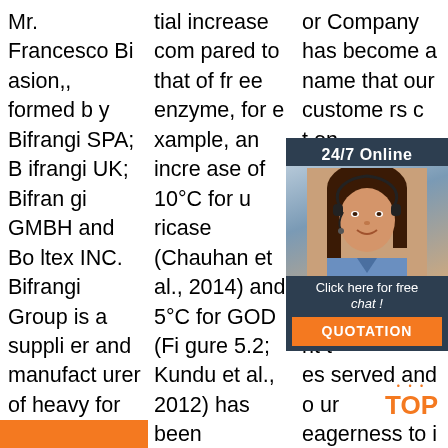Mr. Francesco Bi asion,, formed b y Bifrangi SPA; B ifrangi UK; Bifran gi GMBH and Bo ltex INC. Bifrangi Group is a suppli er and manufact urer of heavy for ging and high vol ume, has in Hou ston a 1.400 KJ (54000 Ton of for ging press) Coun terblow Hammer.
tial increase com pared to that of fr ee enzyme, for e xample, an incre ase of 10°C for u ricase (Chauhan et al., 2014) and 5°C for GOD (Fi gure 5.2; Kundu et al., 2012) has been reported.Im mobilized ENPs show enhanced t hermostability co mpared to that of free enzyme, for example, immobi
or Company has become a name that our custome rs c t on ality d se s a ldin ss. h ou nt t es served and o ur eagerness to i mprove an exp and our product-l ine our
[Figure (photo): Customer service overlay panel with '24/7 Online' header, photo of woman with headset, 'Click here for free chat!' text, and orange QUOTATION button]